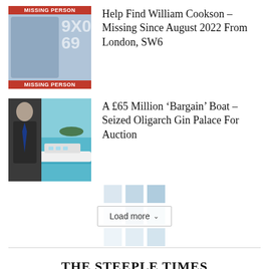[Figure (photo): Missing Person notice with photo of William Cookson, red banners top and bottom reading MISSING PERSON]
Help Find William Cookson – Missing Since August 2022 From London, SW6
[Figure (photo): Composite image with man in suit on left and a large blue yacht on turquoise water on the right]
A £65 Million ‘Bargain’ Boat – Seized Oligarch Gin Palace For Auction
Load more
THE STEEPLE TIMES